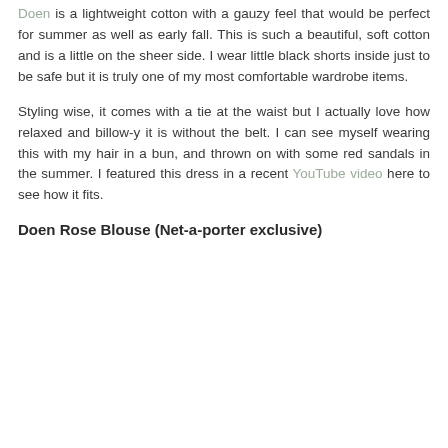Doen is a lightweight cotton with a gauzy feel that would be perfect for summer as well as early fall. This is such a beautiful, soft cotton and is a little on the sheer side. I wear little black shorts inside just to be safe but it is truly one of my most comfortable wardrobe items.
Styling wise, it comes with a tie at the waist but I actually love how relaxed and billow-y it is without the belt. I can see myself wearing this with my hair in a bun, and thrown on with some red sandals in the summer. I featured this dress in a recent YouTube video here to see how it fits.
Doen Rose Blouse (Net-a-porter exclusive)